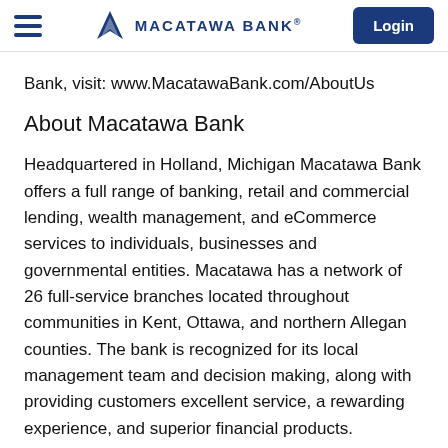MACATAWA BANK | Login
Bank, visit: www.MacatawaBank.com/AboutUs
About Macatawa Bank
Headquartered in Holland, Michigan Macatawa Bank offers a full range of banking, retail and commercial lending, wealth management, and eCommerce services to individuals, businesses and governmental entities. Macatawa has a network of 26 full-service branches located throughout communities in Kent, Ottawa, and northern Allegan counties. The bank is recognized for its local management team and decision making, along with providing customers excellent service, a rewarding experience, and superior financial products. Macatawa Bank has been recognized for the past twelve consecutive years as Best Michigan-Based Relationship Community...